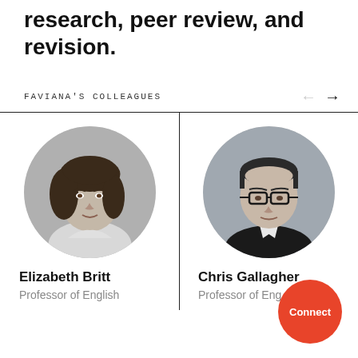research, peer review, and revision.
FAVIANA'S COLLEAGUES
[Figure (photo): Black and white circular portrait photo of Elizabeth Britt, a woman with shoulder-length dark hair]
Elizabeth Britt
Professor of English
[Figure (photo): Black and white circular portrait photo of Chris Gallagher, a man wearing glasses]
Chris Gallagher
Professor of Eng
Connect